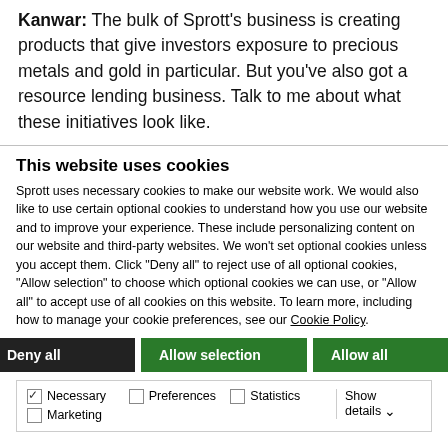Kanwar: The bulk of Sprott's business is creating products that give investors exposure to precious metals and gold in particular. But you've also got a resource lending business. Talk to me about what these initiatives look like.
This website uses cookies
Sprott uses necessary cookies to make our website work. We would also like to use certain optional cookies to understand how you use our website and to improve your experience. These include personalizing content on our website and third-party websites. We won't set optional cookies unless you accept them. Click "Deny all" to reject use of all optional cookies, "Allow selection" to choose which optional cookies we can use, or "Allow all" to accept use of all cookies on this website. To learn more, including how to manage your cookie preferences, see our Cookie Policy.